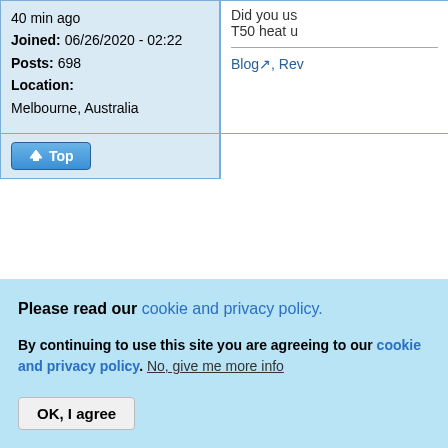40 min ago
Joined: 06/26/2020 - 02:22
Posts: 698
Location: Melbourne, Australia
Did you us T50 heat u
Blog, Rev
Top
« first ‹ previous … 8 9
Please read our cookie and privacy policy.
By continuing to use this site you are agreeing to our cookie and privacy policy. No, give me more info
OK, I agree